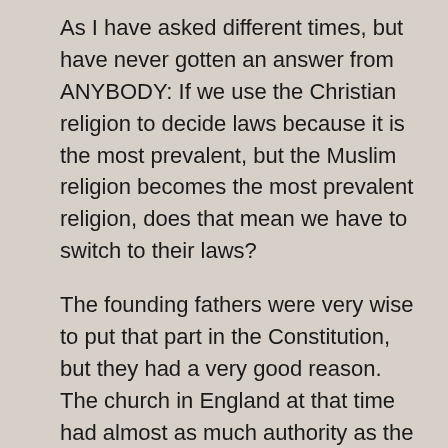As I have asked different times, but have never gotten an answer from ANYBODY: If we use the Christian religion to decide laws because it is the most prevalent, but the Muslim religion becomes the most prevalent religion, does that mean we have to switch to their laws?
The founding fathers were very wise to put that part in the Constitution, but they had a very good reason. The church in England at that time had almost as much authority as the government did. Many of the colonists came to the USA to escape the church. The founders didn't want ANY church to gain as much power as the church did in England.